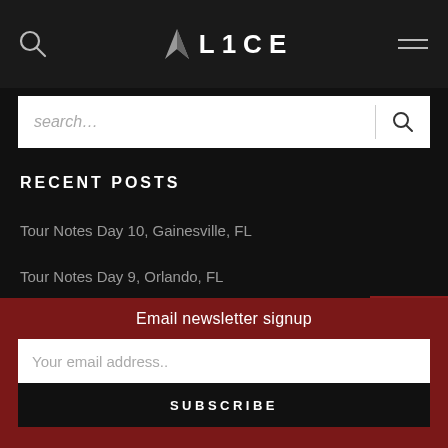ALICE
search...
RECENT POSTS
Tour Notes Day 10, Gainesville, FL
Tour Notes Day 9, Orlando, FL
Tour Notes Day 8, Miami!
Email newsletter signup
Your email address..
SUBSCRIBE